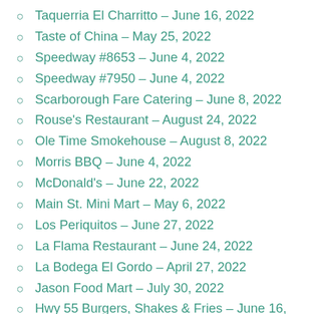Taquerria El Charritto – June 16, 2022
Taste of China – May 25, 2022
Speedway #8653 – June 4, 2022
Speedway #7950 – June 4, 2022
Scarborough Fare Catering – June 8, 2022
Rouse's Restaurant – August 24, 2022
Ole Time Smokehouse – August 8, 2022
Morris BBQ – June 4, 2022
McDonald's – June 22, 2022
Main St. Mini Mart – May 6, 2022
Los Periquitos – June 27, 2022
La Flama Restaurant – June 24, 2022
La Bodega El Gordo – April 27, 2022
Jason Food Mart – July 30, 2022
Hwy 55 Burgers, Shakes & Fries – June 16, 2022